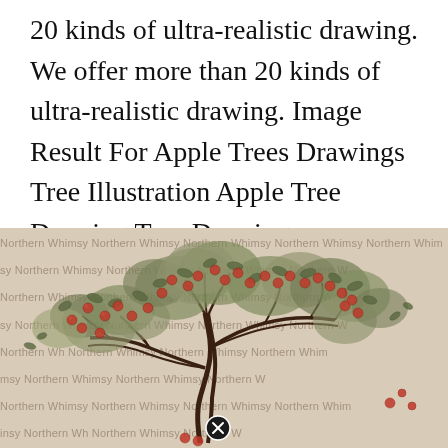20 kinds of ultra-realistic drawing. We offer more than 20 kinds of ultra-realistic drawing. Image Result For Apple Trees Drawings Tree Illustration Apple Tree Drawing Tree Drawing.
[Figure (illustration): A detailed pen-and-ink style illustration of an apple tree with gnarled branches, abundant foliage, and apples hanging from the branches. The image has a watermark overlay reading 'Northern Whimsy' repeated across a tan/beige background. A close/delete button (circled X) appears at the bottom center of the image.]